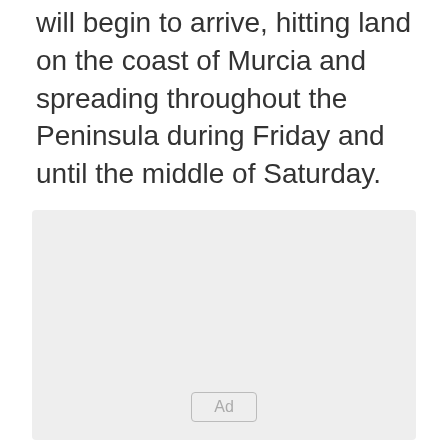will begin to arrive, hitting land on the coast of Murcia and spreading throughout the Peninsula during Friday and until the middle of Saturday.
[Figure (other): Advertisement placeholder box with light gray background and an 'Ad' label button centered near the bottom.]